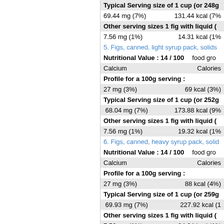| Typical Serving size of 1 cup (or 248g) |  |
| 69.44 mg (7%) | 131.44 kcal (7%) |
| Other serving sizes 1 fig with liquid ( |  |
| 7.56 mg (1%) | 14.31 kcal (1% |
| 5. Figs, canned, light syrup pack, solids |  |
| Nutritional Value : 14 / 100 | food gro |
| Calcium | Calories |
| Profile for a 100g serving : |  |
| 27 mg (3%) | 69 kcal (3%) |
| Typical Serving size of 1 cup (or 252g |  |
| 68.04 mg (7%) | 173.88 kcal (9% |
| Other serving sizes 1 fig with liquid ( |  |
| 7.56 mg (1%) | 19.32 kcal (1% |
| 6. Figs, canned, heavy syrup pack, solid |  |
| Nutritional Value : 14 / 100 | food gro |
| Calcium | Calories |
| Profile for a 100g serving : |  |
| 27 mg (3%) | 88 kcal (4%) |
| Typical Serving size of 1 cup (or 259g |  |
| 69.93 mg (7%) | 227.92 kcal (1 |
| Other serving sizes 1 fig with liquid ( |  |
| 7.56 mg (1%) | 24.64 kcal (1% |